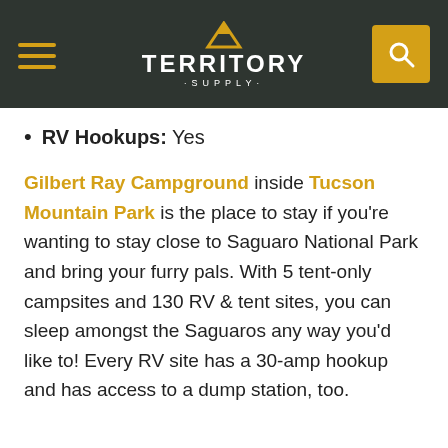Territory Supply
RV Hookups: Yes
Gilbert Ray Campground inside Tucson Mountain Park is the place to stay if you’re wanting to stay close to Saguaro National Park and bring your furry pals. With 5 tent-only campsites and 130 RV & tent sites, you can sleep amongst the Saguaros any way you’d like to! Every RV site has a 30-amp hookup and has access to a dump station, too.